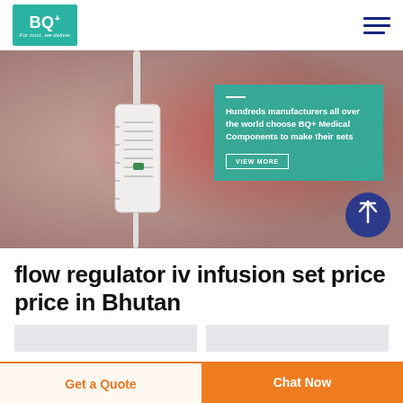[Figure (logo): BQ+ Medical Components logo — teal square with white BQ+ text and tagline 'For trust, we deliver']
[Figure (photo): Close-up photo of an IV infusion flow regulator — white cylindrical drip chamber with measurement markings, held above a blurred red background]
Hundreds manufacturers all over the world choose BQ+ Medical Components to make their sets
flow regulator iv infusion set price price in Bhutan
Get a Quote
Chat Now